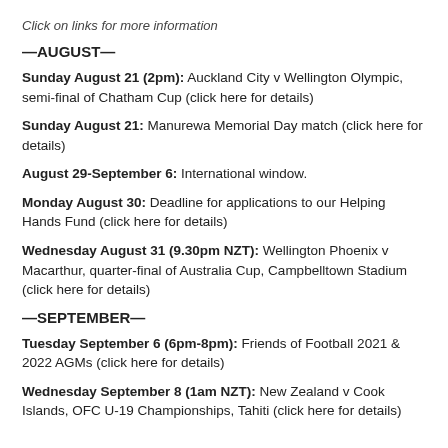Click on links for more information
—AUGUST—
Sunday August 21 (2pm): Auckland City v Wellington Olympic, semi-final of Chatham Cup (click here for details)
Sunday August 21: Manurewa Memorial Day match (click here for details)
August 29-September 6: International window.
Monday August 30: Deadline for applications to our Helping Hands Fund (click here for details)
Wednesday August 31 (9.30pm NZT): Wellington Phoenix v Macarthur, quarter-final of Australia Cup, Campbelltown Stadium (click here for details)
—SEPTEMBER—
Tuesday September 6 (6pm-8pm): Friends of Football 2021 & 2022 AGMs (click here for details)
Wednesday September 8 (1am NZT): New Zealand v Cook Islands, OFC U-19 Championships, Tahiti (click here for details)